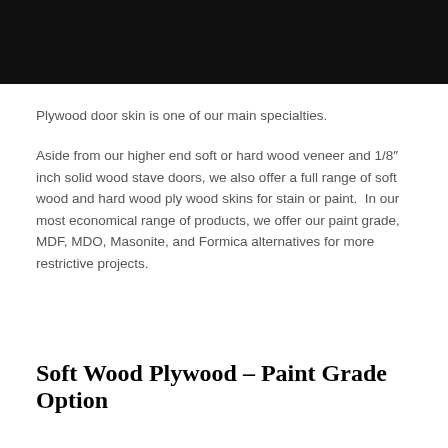[Figure (photo): Black bar at the top of the page, likely a cropped image header]
Plywood door skin is one of our main specialties.
Aside from our higher end soft or hard wood veneer and 1/8″ inch solid wood stave doors, we also offer a full range of soft wood and hard wood ply wood skins for stain or paint.  In our most economical range of products, we offer our paint grade, MDF, MDO, Masonite, and Formica alternatives for more restrictive projects.
Soft Wood Plywood – Paint Grade Option